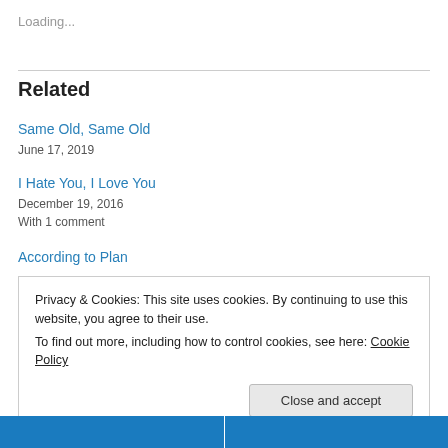Loading...
Related
Same Old, Same Old
June 17, 2019
I Hate You, I Love You
December 19, 2016
With 1 comment
According to Plan
Privacy & Cookies: This site uses cookies. By continuing to use this website, you agree to their use.
To find out more, including how to control cookies, see here: Cookie Policy
Close and accept